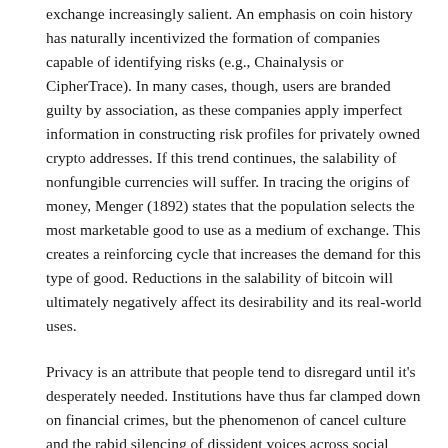exchange increasingly salient. An emphasis on coin history has naturally incentivized the formation of companies capable of identifying risks (e.g., Chainalysis or CipherTrace). In many cases, though, users are branded guilty by association, as these companies apply imperfect information in constructing risk profiles for privately owned crypto addresses. If this trend continues, the salability of nonfungible currencies will suffer. In tracing the origins of money, Menger (1892) states that the population selects the most marketable good to use as a medium of exchange. This creates a reinforcing cycle that increases the demand for this type of good. Reductions in the salability of bitcoin will ultimately negatively affect its desirability and its real-world uses.
Privacy is an attribute that people tend to disregard until it's desperately needed. Institutions have thus far clamped down on financial crimes, but the phenomenon of cancel culture and the rabid silencing of dissident voices across social media is a dangerous precedent that sets the stage for the ubiquitous refusal of financial transactions based on political or social beliefs. When currency units contain a history, financial activity can unearth the ideological leanings of its possessor. Communities under totalitarian regimes in particular are at the greatest risk in this regard.